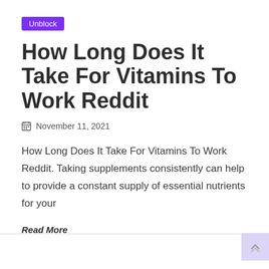Unblock
How Long Does It Take For Vitamins To Work Reddit
📅 November 11, 2021
How Long Does It Take For Vitamins To Work Reddit. Taking supplements consistently can help to provide a constant supply of essential nutrients for your
Read More